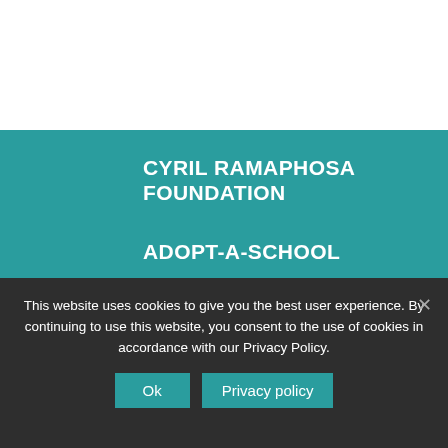CYRIL RAMAPHOSA FOUNDATION
ADOPT-A-SCHOOL
KST
CYRIL RAMAPHOSA EDUCATION TRUST
THARI PROGRAMME
This website uses cookies to give you the best user experience. By continuing to use this website, you consent to the use of cookies in accordance with our Privacy Policy.